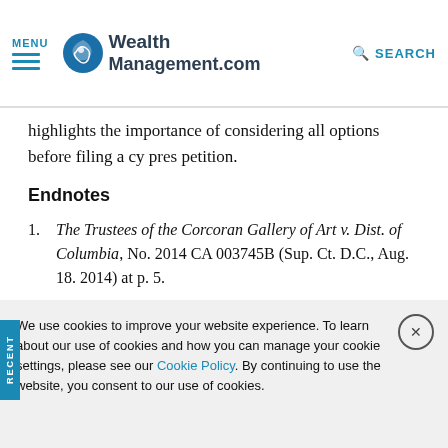MENU | WealthManagement.com | SEARCH
highlights the importance of considering all options before filing a cy pres petition.
Endnotes
1. The Trustees of the Corcoran Gallery of Art v. Dist. of Columbia, No. 2014 CA 003745B (Sup. Ct. D.C., Aug. 18. 2014) at p. 5.
2. Ibid., at pp. 5-6.
We use cookies to improve your website experience. To learn about our use of cookies and how you can manage your cookie settings, please see our Cookie Policy. By continuing to use the website, you consent to our use of cookies.